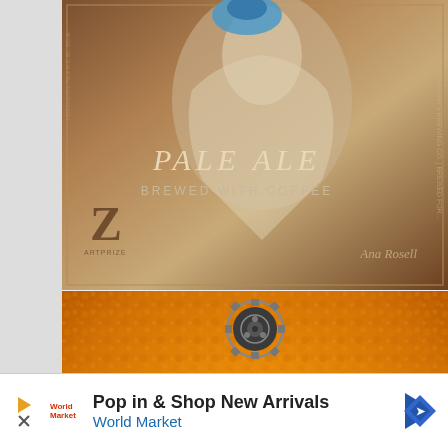[Figure (photo): Beer label for a Pale Ale Brewed With Coffee by a craft brewer. Shows a vintage-style illustrated figure wearing white, with decorative Z logo and artist signature Ana Rosell. Text reads: PALE ALE BREWED WITH COFFEE.]
[Figure (photo): Infamous Brewing Company Sexapeel American Hefeweizen beer label. Orange textured citrus peel background with large black and white bold lettering. Bottom black band reads: AMERICAN HEFEWEIZEN | INFAMOUS BREWING COMPANY, AUSTIN, TEXAS, WWW.INFAMOUSBREWING.COM, 12 FL.OZ. 355 ML.]
[Figure (photo): Partial beer label for Cloudfinder, tan/kraft paper background with text and a cartoon creature face illustration. Partially visible.]
Pop in & Shop New Arrivals
World Market